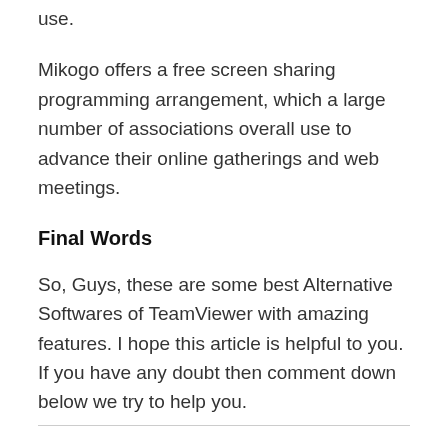use.
Mikogo offers a free screen sharing programming arrangement, which a large number of associations overall use to advance their online gatherings and web meetings.
Final Words
So, Guys, these are some best Alternative Softwares of TeamViewer with amazing features. I hope this article is helpful to you. If you have any doubt then comment down below we try to help you.